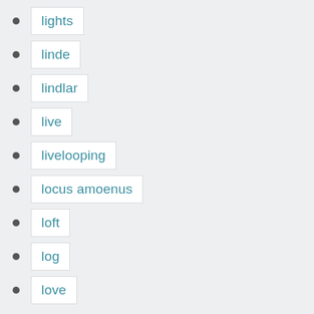lights
linde
lindlar
live
livelooping
locus amoenus
loft
log
love